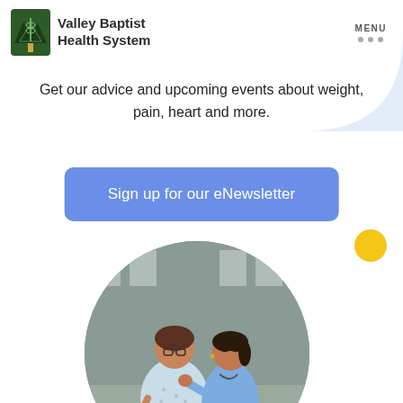Valley Baptist Health System | MENU
Get our advice and upcoming events about weight, pain, heart and more.
Sign up for our eNewsletter
[Figure (photo): A patient in a hospital gown seated in a wheelchair speaking with a healthcare worker in blue scrubs, outdoors in front of a building. The image is cropped in a circle.]